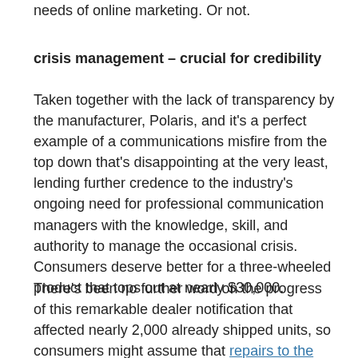needs of online marketing. Or not.
crisis management – crucial for credibility
Taken together with the lack of transparency by the manufacturer, Polaris, and it's a perfect example of a communications misfire from the top down that's disappointing at the very least, lending further credence to the industry's ongoing need for professional communication managers with the knowledge, skill, and authority to manage the occasional crisis. Consumers deserve better for a three-wheeled product that tops out at nearly $30,000.
There's been no further word on the progress of this remarkable dealer notification that affected nearly 2,000 already shipped units, so consumers might assume that repairs to the